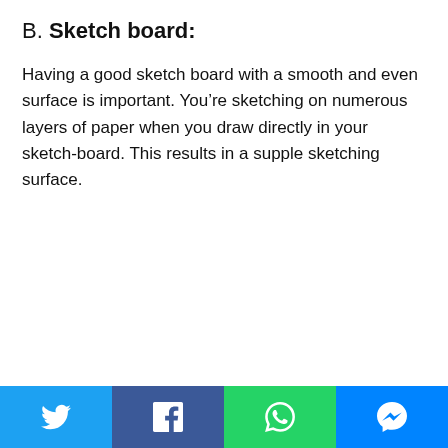B. Sketch board:
Having a good sketch board with a smooth and even surface is important. You’re sketching on numerous layers of paper when you draw directly in your sketch-board. This results in a supple sketching surface.
[Figure (infographic): Social media share bar with four buttons: Twitter (blue), Facebook (dark blue), WhatsApp (green), Messenger (blue)]